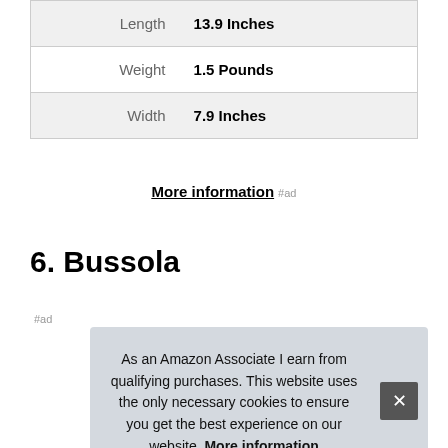| Length | 13.9 Inches |
| Weight | 1.5 Pounds |
| Width | 7.9 Inches |
More information #ad
6. Bussola
#ad
As an Amazon Associate I earn from qualifying purchases. This website uses the only necessary cookies to ensure you get the best experience on our website. More information